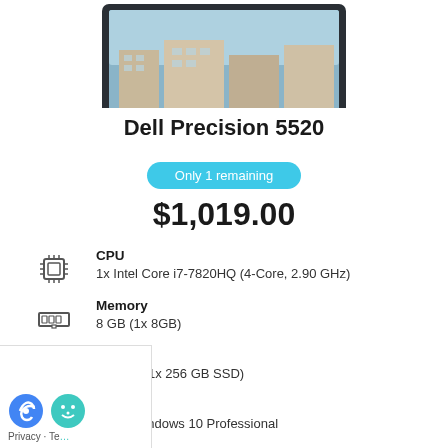[Figure (photo): Dell Precision 5520 laptop shown from front, with building/architectural image on screen, partial view showing top portion of laptop]
Dell Precision 5520
Only 1 remaining
$1,019.00
CPU
1x Intel Core i7-7820HQ (4-Core, 2.90 GHz)
Memory
8 GB (1x 8GB)
HDD
256 GB (1x 256 GB SSD)
OS
64-bit Windows 10 Professional
Display